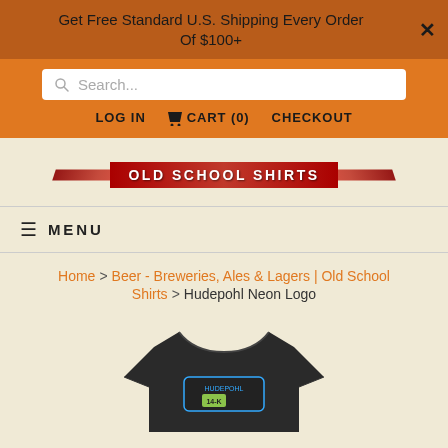Get Free Standard U.S. Shipping Every Order Of $100+
Search...
LOG IN  CART (0)  CHECKOUT
[Figure (logo): Old School Shirts logo banner with red gradient and decorative lines]
≡ MENU
Home > Beer - Breweries, Ales & Lagers | Old School Shirts > Hudepohl Neon Logo
[Figure (photo): Dark grey/black t-shirt with Hudepohl Neon Logo graphic featuring 14-K branding in neon style]